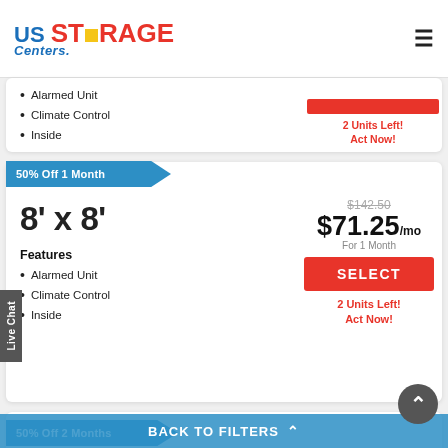US Storage Centers
Alarmed Unit
Climate Control
Inside
2 Units Left! Act Now!
50% Off 1 Month
$142.50 (strikethrough)
8' x 8'
$71.25/mo For 1 Month
Features
Alarmed Unit
Climate Control
Inside
SELECT
2 Units Left! Act Now!
50% Off 2 Months
BACK TO FILTERS